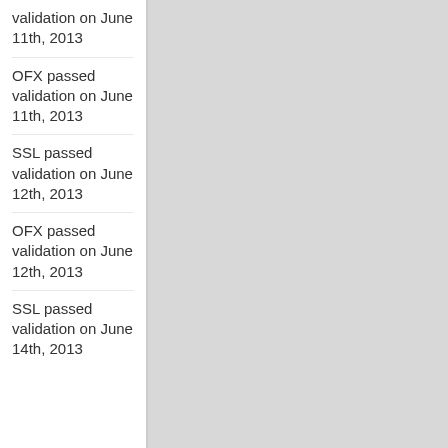validation on June 11th, 2013
OFX passed validation on June 11th, 2013
SSL passed validation on June 12th, 2013
OFX passed validation on June 12th, 2013
SSL passed validation on June 14th, 2013